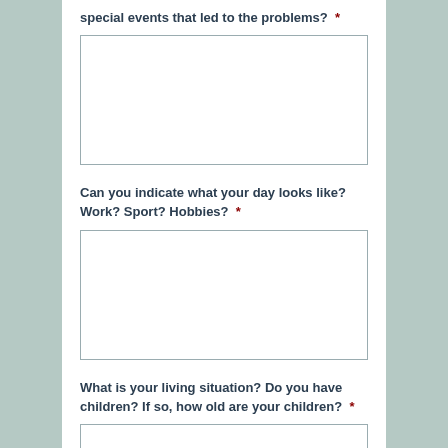special events that led to the problems? *
Can you indicate what your day looks like? Work? Sport? Hobbies? *
What is your living situation? Do you have children? If so, how old are your children? *